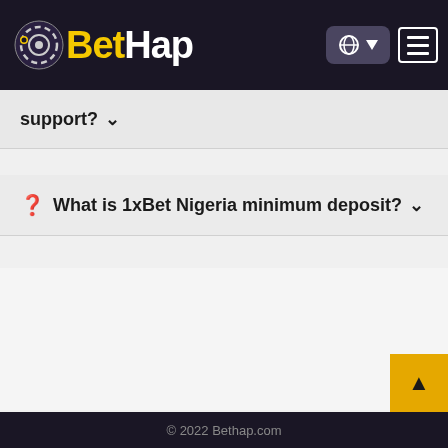[Figure (logo): BetHap website header with logo, globe/language selector button, and hamburger menu button on dark purple background]
support? ❯
❓ What is 1xBet Nigeria minimum deposit? ❯
© 2022 Bethap.com